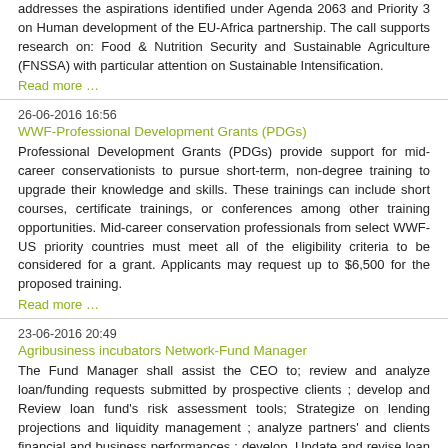addresses the aspirations identified under Agenda 2063 and Priority 3 on Human development of the EU-Africa partnership. The call supports research on: Food & Nutrition Security and Sustainable Agriculture (FNSSA) with particular attention on Sustainable Intensification.
Read more …
26-06-2016 16:56
WWF-Professional Development Grants (PDGs)
Professional Development Grants (PDGs) provide support for mid-career conservationists to pursue short-term, non-degree training to upgrade their knowledge and skills. These trainings can include short courses, certificate trainings, or conferences among other training opportunities. Mid-career conservation professionals from select WWF-US priority countries must meet all of the eligibility criteria to be considered for a grant. Applicants may request up to $6,500 for the proposed training.
Read more …
23-06-2016 20:49
Agribusiness incubators Network-Fund Manager
The Fund Manager shall assist the CEO to; review and analyze loan/funding requests submitted by prospective clients ; develop and Review loan fund's risk assessment tools; Strategize on lending projections and liquidity management ; analyze partners' and clients financial and business performances ; develop, Update and revise loan fund policies; review financial reports; produce several monthly financial reports, including -but not limited- to the following ones.
Read more …
17-06-2016 08:00
WWF : Law Enforcement Advisor – Salonga National Park
The WWF/ICCN partnership is seeking a very capable individual who appreciates the challenges of working in a remote African National Park and